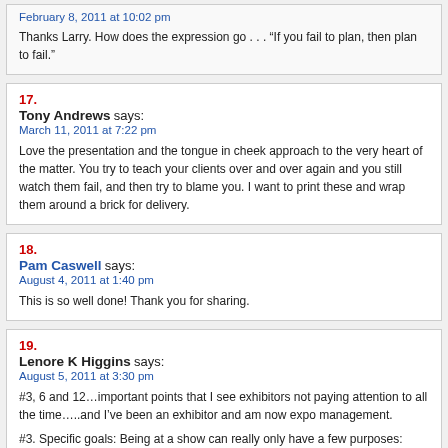February 8, 2011 at 10:02 pm
Thanks Larry. How does the expression go . . . "If you fail to plan, then plan to fail."
17.
Tony Andrews says:
March 11, 2011 at 7:22 pm
Love the presentation and the tongue in cheek approach to the very heart of the matter. You try to teach your clients over and over again and you still watch them fail, and then try to blame you. I want to print these and wrap them around a brick for delivery.
18.
Pam Caswell says:
August 4, 2011 at 1:40 pm
This is so well done! Thank you for sharing.
19.
Lenore K Higgins says:
August 5, 2011 at 3:30 pm
#3, 6 and 12…important points that I see exhibitors not paying attention to all the time…..and I've been an exhibitor and am now expo management.
#3. Specific goals: Being at a show can really only have a few purposes: generating leads, making contact with existing clients, checking out and/or "beating" the